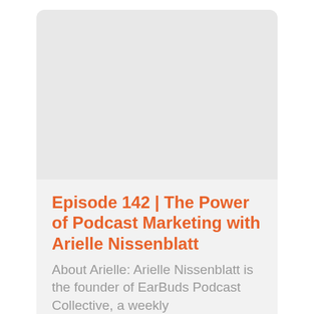[Figure (illustration): Light gray rectangular image placeholder area at the top of a card]
Episode 142 | The Power of Podcast Marketing with Arielle Nissenblatt
About Arielle: Arielle Nissenblatt is the founder of EarBuds Podcast Collective, a weekly